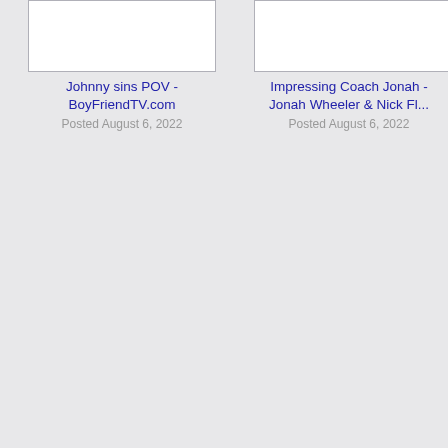[Figure (screenshot): Video thumbnail placeholder (white box with border) for 'Johnny sins POV - BoyFriendTV.com']
Johnny sins POV - BoyFriendTV.com
Posted August 6, 2022
[Figure (screenshot): Video thumbnail placeholder (white box with border) for 'Impressing Coach Jonah - Jonah Wheeler & Nick Fl...']
Impressing Coach Jonah - Jonah Wheeler & Nick Fl...
Posted August 6, 2022